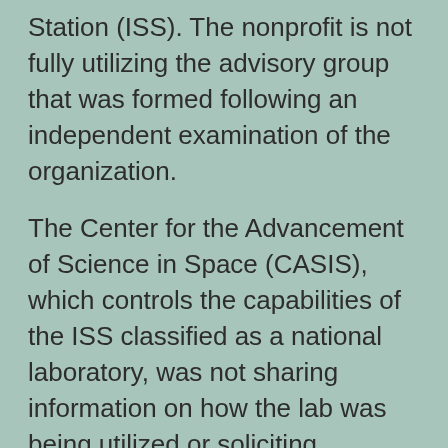Station (ISS). The nonprofit is not fully utilizing the advisory group that was formed following an independent examination of the organization.
The Center for the Advancement of Science in Space (CASIS), which controls the capabilities of the ISS classified as a national laboratory, was not sharing information on how the lab was being utilized or soliciting opinions from the committee on resource allocations, according to a report released by the Government Accountability Office on June 7.